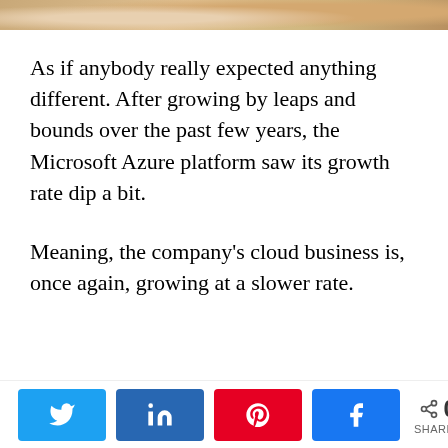[Figure (photo): Partial image of clouds or sky, cropped at the top of the page]
As if anybody really expected anything different. After growing by leaps and bounds over the past few years, the Microsoft Azure platform saw its growth rate dip a bit.
Meaning, the company's cloud business is, once again, growing at a slower rate.
Social share bar with Twitter, LinkedIn, Pinterest, Facebook buttons and 0 SHARES